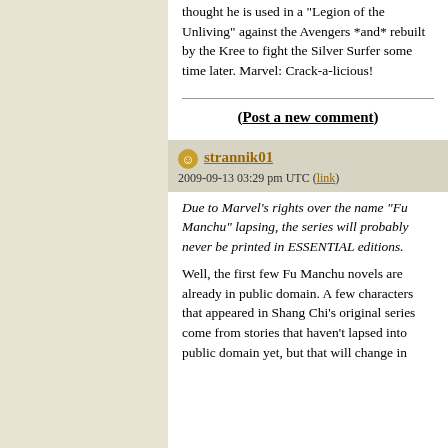thought he is used in a "Legion of the Unliving" against the Avengers *and* rebuilt by the Kree to fight the Silver Surfer some time later. Marvel: Crack-a-licious!
(Post a new comment)
strannik01
2009-09-13 03:29 pm UTC (link)
Due to Marvel's rights over the name "Fu Manchu" lapsing, the series will probably never be printed in ESSENTIAL editions.
Well, the first few Fu Manchu novels are already in public domain. A few characters that appeared in Shang Chi's original series come from stories that haven't lapsed into public domain yet, but that will change in